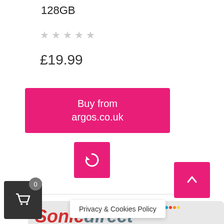128GB
★★★★★ (empty stars)
£19.99
Buy from argos.co.uk
[Figure (screenshot): Sonic Direct banner showing logo and text 'Premier Service & Unbeatable Prices!']
Privacy & Cookies Policy